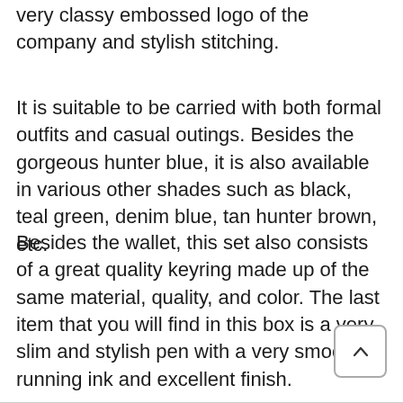very classy embossed logo of the company and stylish stitching.
It is suitable to be carried with both formal outfits and casual outings. Besides the gorgeous hunter blue, it is also available in various other shades such as black, teal green, denim blue, tan hunter brown, etc.
Besides the wallet, this set also consists of a great quality keyring made up of the same material, quality, and color. The last item that you will find in this box is a very slim and stylish pen with a very smoothly running ink and excellent finish.